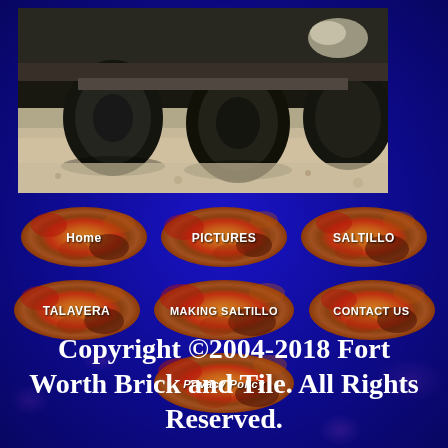[Figure (photo): Photograph showing the underside/tires of a heavy truck or vehicle, close-up view of wheels on dirt/gravel ground]
[Figure (infographic): Navigation menu with 7 oval/ellipse shaped buttons with gradient orange-red-brown texture. Row 1: Home, PICTURES, SALTILLO. Row 2: TALAVERA, MAKING SALTILLO, CONTACT US. Row 3 (center): Privacy Policy]
Copyright ©2004-2018 Fort Worth Brick and Tile. All Rights Reserved.